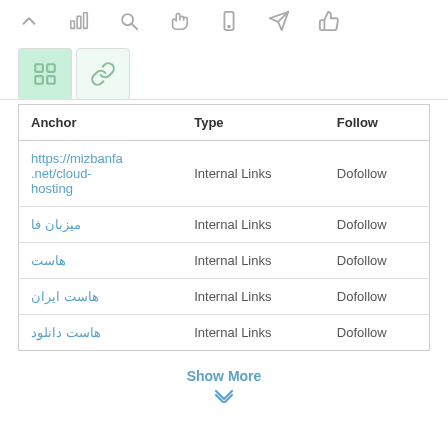[Figure (screenshot): Toolbar with icons: up arrow, bar chart, search, hand pointer, mobile, send/arrow, thumbs up]
[Figure (screenshot): Two tab buttons: active green tab with grid/hashtag icon, inactive light green tab with link/chain icon]
| Anchor | Type | Follow |
| --- | --- | --- |
| https://mizbanfa.net/cloud-hosting | Internal Links | Dofollow |
| میزبان فا | Internal Links | Dofollow |
| هاست | Internal Links | Dofollow |
| هاست ایران | Internal Links | Dofollow |
| هاست دانلود | Internal Links | Dofollow |
Show More
❯❯ (chevron down)